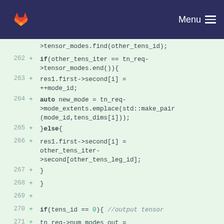GitLab — Menu
[Figure (screenshot): Code diff view showing C++ source lines 262–272 with additions marked by + signs on a light green background]
>tensor_modes.find(other_tens_id);
262 + if(other_tens_iter == tn_req->tensor_modes.end()){
263 + res1.first->second[i] = ++mode_id;
264 + auto new_mode = tn_req->mode_extents.emplace(std::make_pair(mode_id,tens_dims[i]));
265 + }else{
266 + res1.first->second[i] = other_tens_iter->second[other_tens_leg_id];
267 + }
268 + }
269 +
270 + if(tens_id == 0){ //output tensor
271 + tn_req->num_modes_out = tens_rank;
272 + tn_req->extents_out = res0.first->second.extents.data();